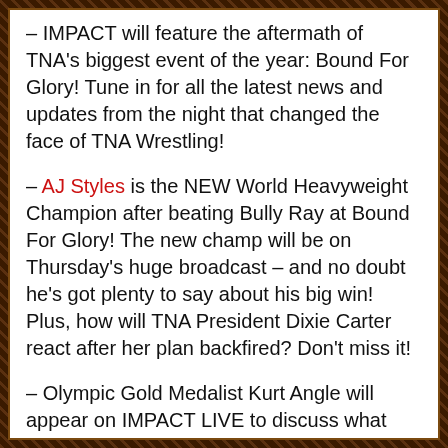– IMPACT will feature the aftermath of TNA's biggest event of the year: Bound For Glory! Tune in for all the latest news and updates from the night that changed the face of TNA Wrestling!
– AJ Styles is the NEW World Heavyweight Champion after beating Bully Ray at Bound For Glory! The new champ will be on Thursday's huge broadcast – and no doubt he's got plenty to say about his big win! Plus, how will TNA President Dixie Carter react after her plan backfired? Don't miss it!
– Olympic Gold Medalist Kurt Angle will appear on IMPACT LIVE to discuss what happened at Bound For Glory! After shocking the wrestling world and respectfully declining his HOF induction, and then his controversial loss to Bobby Roode in which he was injured, what is next for Kurt Angle? What is Angle's